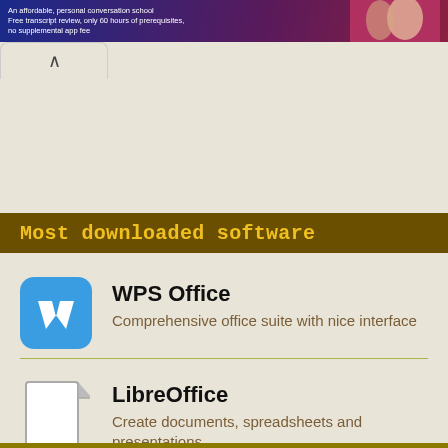[Figure (screenshot): Ad banner with dark blue/maroon gradient background showing text about affordable personal conversation school with free transcript review and no supplemental app fee, with a photo of people on the right side]
[Figure (screenshot): Browser tab bar with an up-arrow (collapse) button on a beige background]
Most downloaded software
[Figure (logo): WPS Office app icon: blue rounded square with white W letter in WPS style]
WPS Office
Comprehensive office suite with nice interface
[Figure (logo): LibreOffice app icon: white document with folded corner and gray shadow]
LibreOffice
Create documents, spreadsheets and presentations